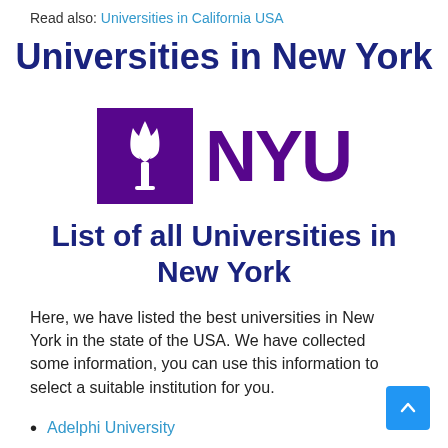Read also: Universities in California USA
Universities in New York
[Figure (logo): NYU logo: purple square with white torch flame icon on left, bold purple 'NYU' text on right]
List of all Universities in New York
Here, we have listed the best universities in New York in the state of the USA. We have collected some information, you can use this information to select a suitable institution for you.
Adelphi University